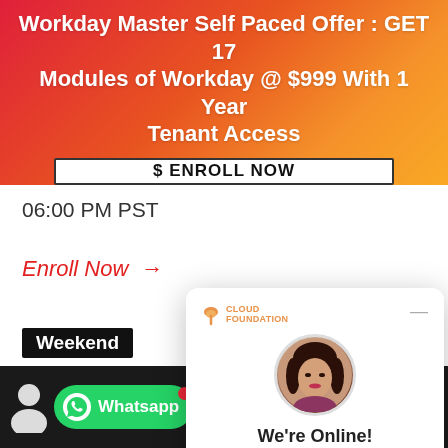Workday Master Self Paced Offer : GET 17 Modules of Workday @ $999 With 1 Year Tenant Access
$ ENROLL NOW
06:00 PM PST
Enroll Now →
Weekend
July 31(1 HR...
07:30 AM PS...
[Figure (screenshot): Cloud Foundation chat widget showing 'We're Online! How may I help you today?' with a Chat now button and female avatar photo]
Whatsapp
+44-1224-015200
sales@cloudfoundation.com